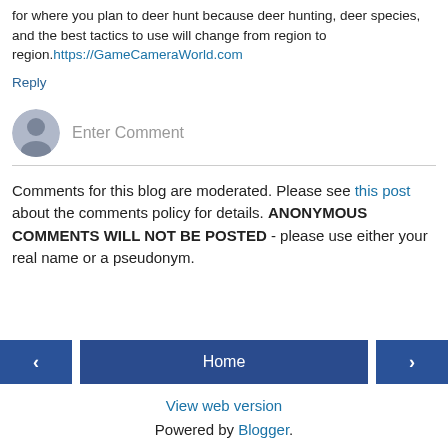for where you plan to deer hunt because deer hunting, deer species, and the best tactics to use will change from region to region. https://GameCameraWorld.com
Reply
[Figure (illustration): Comment input area with user avatar icon and placeholder text 'Enter Comment']
Comments for this blog are moderated. Please see this post about the comments policy for details. ANONYMOUS COMMENTS WILL NOT BE POSTED - please use either your real name or a pseudonym.
[Figure (infographic): Navigation bar with left arrow button, Home button, and right arrow button]
View web version
Powered by Blogger.